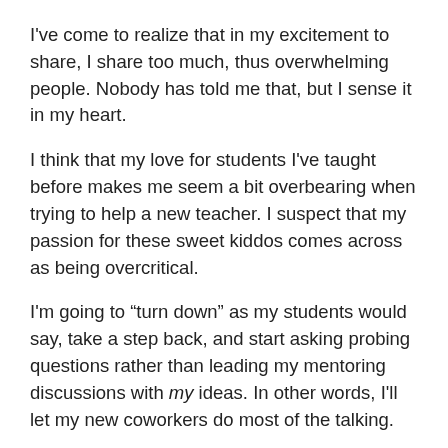I've come to realize that in my excitement to share, I share too much, thus overwhelming people.  Nobody has told me that, but I sense it in my heart.
I think that my love for students I've taught before makes me seem a bit overbearing when trying to help a new teacher.  I suspect that my passion for these sweet kiddos comes across as being overcritical.
I'm going to “turn down” as my students would say, take a step back, and start asking probing questions rather than leading my mentoring discussions with my ideas.  In other words, I'll let my new coworkers do most of the talking.
Um yeah…that’s going to be a hard lesson for me but one that I must learn so people don’t start running when they see me headed their way.